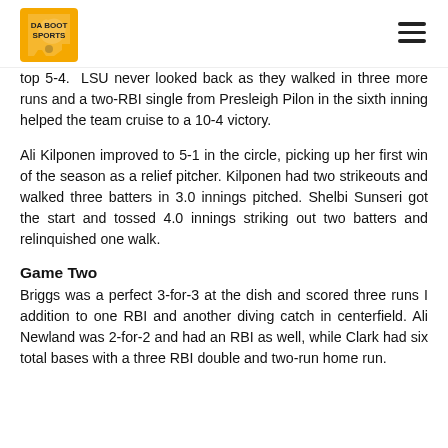Da Boot Sports (logo) with hamburger menu
top 5-4. LSU never looked back as they walked in three more runs and a two-RBI single from Presleigh Pilon in the sixth inning helped the team cruise to a 10-4 victory.
Ali Kilponen improved to 5-1 in the circle, picking up her first win of the season as a relief pitcher. Kilponen had two strikeouts and walked three batters in 3.0 innings pitched. Shelbi Sunseri got the start and tossed 4.0 innings striking out two batters and relinquished one walk.
Game Two
Briggs was a perfect 3-for-3 at the dish and scored three runs I addition to one RBI and another diving catch in centerfield. Ali Newland was 2-for-2 and had an RBI as well, while Clark had six total bases with a three RBI double and two-run home run.